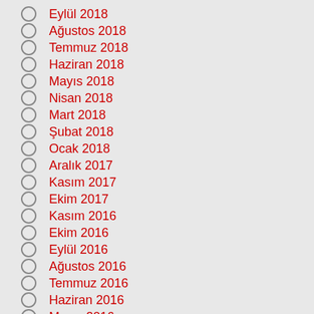Eylül 2018
Ağustos 2018
Temmuz 2018
Haziran 2018
Mayıs 2018
Nisan 2018
Mart 2018
Şubat 2018
Ocak 2018
Aralık 2017
Kasım 2017
Ekim 2017
Kasım 2016
Ekim 2016
Eylül 2016
Ağustos 2016
Temmuz 2016
Haziran 2016
Mayıs 2016